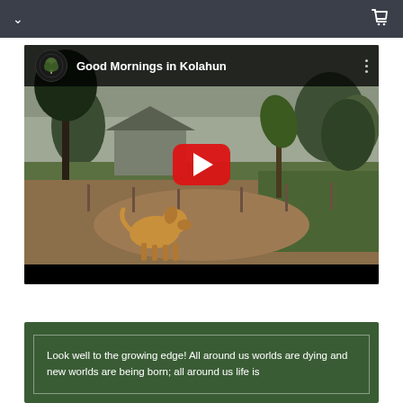Navigation bar with chevron/dropdown and shopping cart icons
[Figure (screenshot): YouTube video thumbnail titled 'Good Mornings in Kolahun' showing a misty rural African village scene with a golden dog standing in a dirt clearing, trees and a building visible in the background, with a red YouTube play button overlay in the center]
Look well to the growing edge! All around us worlds are dying and new worlds are being born; all around us life is